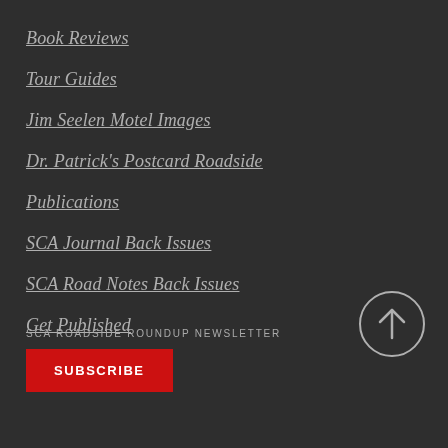Book Reviews
Tour Guides
Jim Seelen Motel Images
Dr. Patrick's Postcard Roadside
Publications
SCA Journal Back Issues
SCA Road Notes Back Issues
Get Published
SCA ROADSIDE ROUNDUP NEWSLETTER
SUBSCRIBE